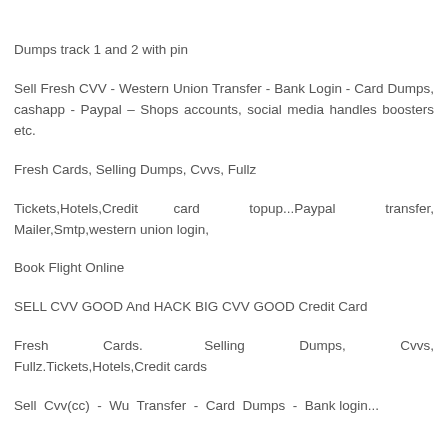Dumps track 1 and 2 with pin
Sell Fresh CVV - Western Union Transfer - Bank Login - Card Dumps, cashapp - Paypal – Shops accounts, social media handles boosters etc.
Fresh Cards, Selling Dumps, Cvvs, Fullz
Tickets,Hotels,Credit card topup...Paypal transfer, Mailer,Smtp,western union login,
Book Flight Online
SELL CVV GOOD And HACK BIG CVV GOOD Credit Card
Fresh Cards. Selling Dumps, Cvvs, Fullz.Tickets,Hotels,Credit cards
Sell Cvv(cc) - Wu Transfer - Card Dumps - Bank login...